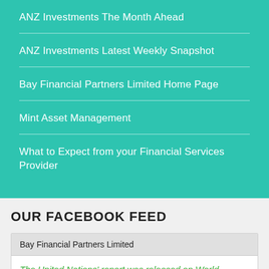ANZ Investments The Month Ahead
ANZ Investments Latest Weekly Snapshot
Bay Financial Partners Limited Home Page
Mint Asset Management
What to Expect from your Financial Services Provider
OUR FACEBOOK FEED
Bay Financial Partners Limited
The United Nations' report was released on World Population Day.